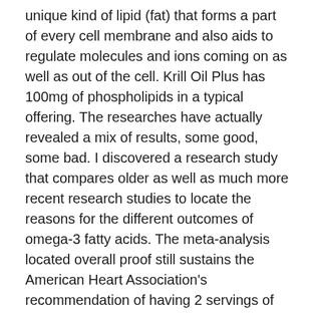unique kind of lipid (fat) that forms a part of every cell membrane and also aids to regulate molecules and ions coming on as well as out of the cell. Krill Oil Plus has 100mg of phospholipids in a typical offering. The researches have actually revealed a mix of results, some good, some bad. I discovered a research study that compares older as well as much more recent research studies to locate the reasons for the different outcomes of omega-3 fatty acids. The meta-analysis located overall proof still sustains the American Heart Association's recommendation of having 2 servings of fatty fish each week.3.
Skin.